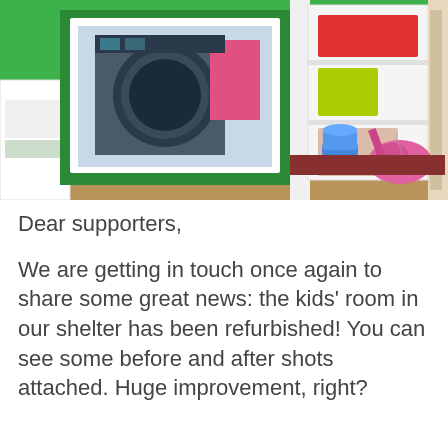[Figure (photo): Interior photo of a kids' room with bright green walls, white shelving units, a washing machine visible through a window/mirror, a blue toy cup and pink toy guitar on a red surface, and a white bookcase with red and green storage bins on the right.]
Dear supporters,
We are getting in touch once again to share some great news: the kids' room in our shelter has been refurbished! You can see some before and after shots attached. Huge improvement, right?